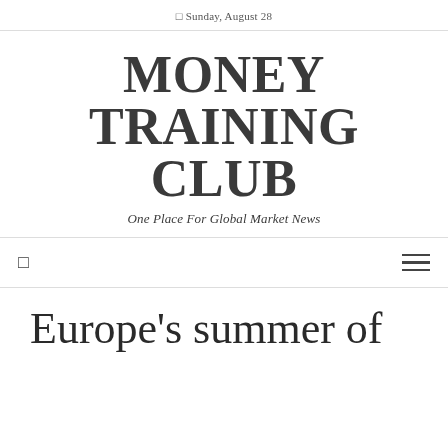Sunday, August 28
MONEY TRAINING CLUB
One Place For Global Market News
Europe's summer of